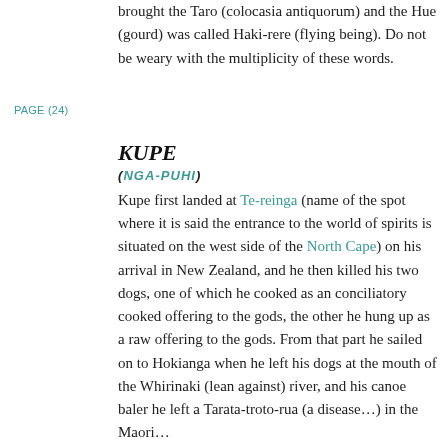brought the Taro (colocasia antiquorum) and the Hue (gourd) was called Haki-rere (flying being). Do not be weary with the multiplicity of these words.
PAGE (24)
KUPE
(NGA-PUHI)
Kupe first landed at Te-reinga (name of the spot where it is said the entrance to the world of spirits is situated on the west side of the North Cape) on his arrival in New Zealand, and he then killed his two dogs, one of which he cooked as an conciliatory cooked offering to the gods, the other he hung up as a raw offering to the gods. From that part he sailed on to Hokianga when he left his dogs at the mouth of the Whirinaki (lean against) river, and his canoe baler he left a Tarata-troto-rua (a disease…) in the Maori…